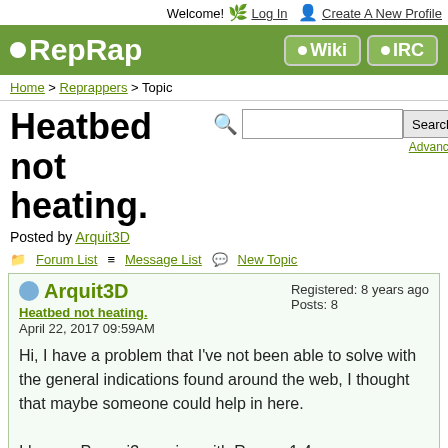Welcome! Log In Create A New Profile
RepRap Wiki IRC
Home > Reprappers > Topic
Heatbed not heating.
Posted by Arquit3D
Forum List Message List New Topic
Arquit3D
Heatbed not heating.
April 22, 2017 09:59AM
Registered: 8 years ago
Posts: 8
Hi, I have a problem that I've not been able to solve with the general indications found around the web, I thought that maybe someone could help in here.

I have a Prusa i3 running with Ramps 1.4.